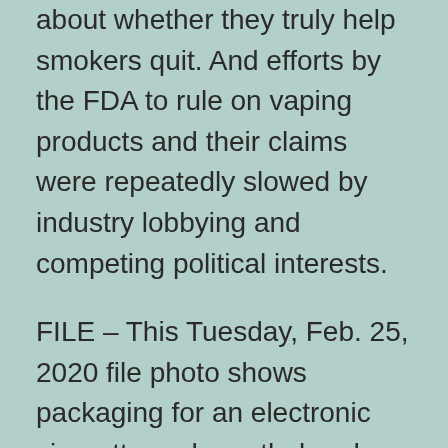about whether they truly help smokers quit. And efforts by the FDA to rule on vaping products and their claims were repeatedly slowed by industry lobbying and competing political interests.
FILE – This Tuesday, Feb. 25, 2020 file photo shows packaging for an electronic cigarette and menthol pods from Juul Labs, in Pembroke Pines, Fla. Juul Labs Inc. will pay $40 million to North Carolina and take more action to prevent underage use and sales, according to a landmark legal settlement announced Monday, June 18, 2021, after years